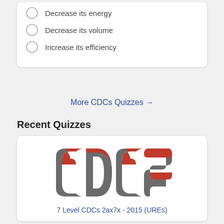Decrease its energy
Decrease its volume
Increase its efficiency
More CDCs Quizzes →
Recent Quizzes
[Figure (logo): CDCS logo in red and gray stylized lettering]
7 Level CDCs 2ax7x - 2015 (UREs)